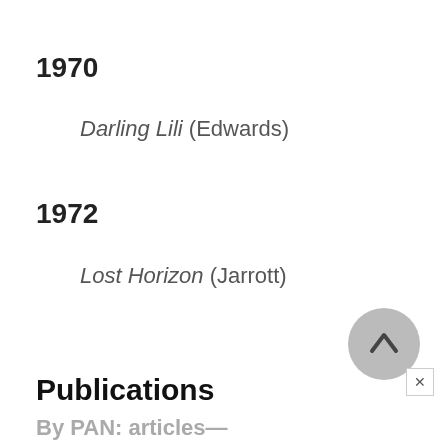1970
Darling Lili (Edwards)
1972
Lost Horizon (Jarrott)
Publications
By PAN: articles—